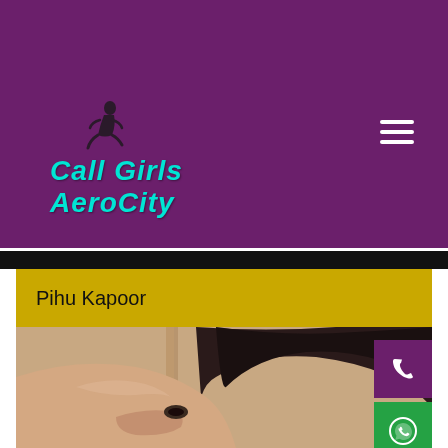[Figure (logo): Call Girls AeroCity website logo with cyan/teal italic bold text and a small female figure silhouette on a purple background]
Pihu Kapoor
[Figure (photo): Close-up photo of a young woman with dark hair covering part of her face, set against a warm beige/cream background. Purple phone call button and green WhatsApp button overlaid on the right side.]